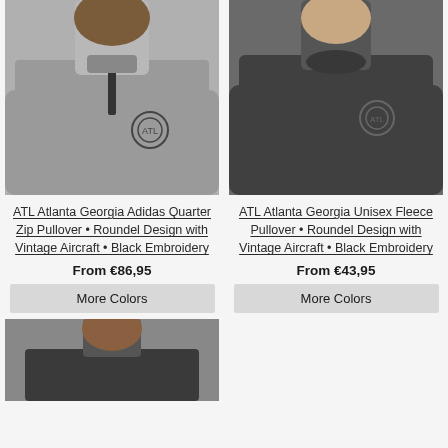[Figure (photo): Man wearing a grey Adidas quarter zip pullover with a roundel embroidery on chest]
[Figure (photo): Man wearing a dark charcoal unisex fleece pullover with a roundel embroidery on chest]
ATL Atlanta Georgia Adidas Quarter Zip Pullover • Roundel Design with Vintage Aircraft • Black Embroidery
ATL Atlanta Georgia Unisex Fleece Pullover • Roundel Design with Vintage Aircraft • Black Embroidery
From €86,95
From €43,95
More Colors
More Colors
[Figure (photo): Partial view of man wearing a dark pullover, cropped at bottom of page]